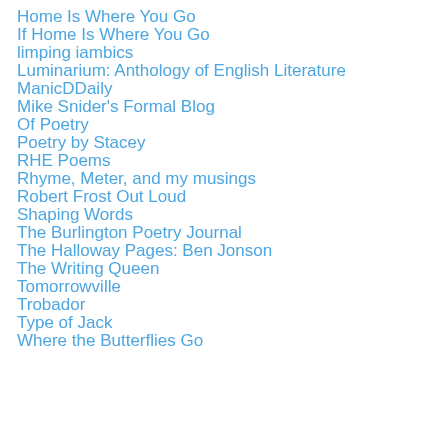Home Is Where You Go
If Home Is Where You Go
limping iambics
Luminarium: Anthology of English Literature
ManicDDaily
Mike Snider's Formal Blog
Of Poetry
Poetry by Stacey
RHE Poems
Rhyme, Meter, and my musings
Robert Frost Out Loud
Shaping Words
The Burlington Poetry Journal
The Halloway Pages: Ben Jonson
The Writing Queen
Tomorrowville
Trobador
Type of Jack
Where the Butterflies Go